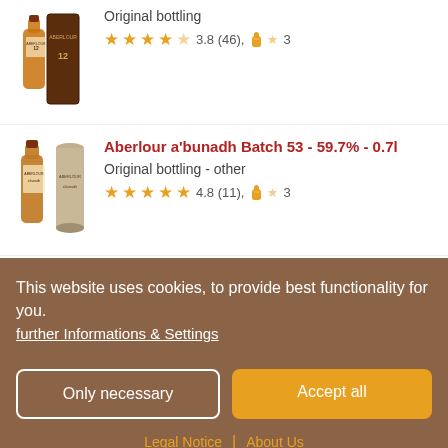[Figure (photo): Product image of Aberlour 12Y whisky bottle]
Original bottling
★★★★☆ 3.8 (46), 🥃 3
Aberlour a'bunadh Batch 53 - 59.7% - 0.7l
Original bottling - other
★★★★★ 4.8 (11), 🥃 3
Aberlour 15Y Select Cask Reserve - 43% - 0.7l
Original bottling
This website uses cookies, to provide best functionality for you.
further Informations & Settings
Only necessary
Accept all
Legal Notice | About Us